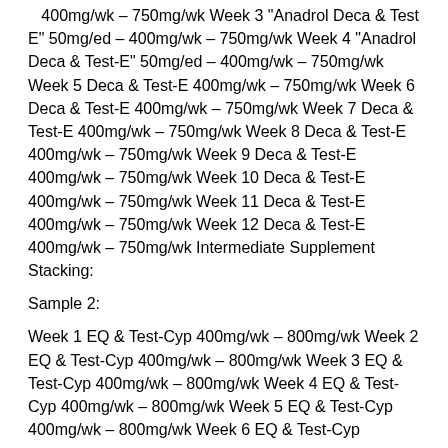400mg/wk – 750mg/wk Week 3 "Anadrol Deca & Test E" 50mg/ed – 400mg/wk – 750mg/wk Week 4 "Anadrol Deca & Test-E" 50mg/ed – 400mg/wk – 750mg/wk Week 5 Deca & Test-E 400mg/wk – 750mg/wk Week 6 Deca & Test-E 400mg/wk – 750mg/wk Week 7 Deca & Test-E 400mg/wk – 750mg/wk Week 8 Deca & Test-E 400mg/wk – 750mg/wk Week 9 Deca & Test-E 400mg/wk – 750mg/wk Week 10 Deca & Test-E 400mg/wk – 750mg/wk Week 11 Deca & Test-E 400mg/wk – 750mg/wk Week 12 Deca & Test-E 400mg/wk – 750mg/wk Intermediate Supplement Stacking:
Sample 2:
Week 1 EQ & Test-Cyp 400mg/wk – 800mg/wk Week 2 EQ & Test-Cyp 400mg/wk – 800mg/wk Week 3 EQ & Test-Cyp 400mg/wk – 800mg/wk Week 4 EQ & Test-Cyp 400mg/wk – 800mg/wk Week 5 EQ & Test-Cyp 400mg/wk – 800mg/wk Week 6 EQ & Test-Cyp